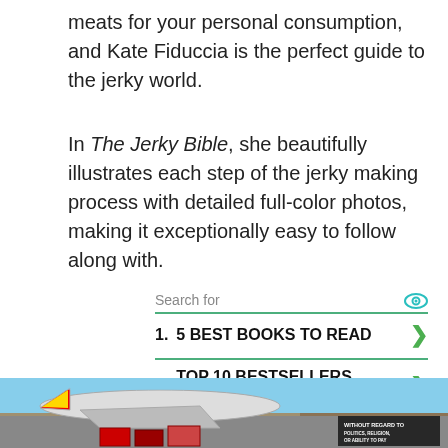meats for your personal consumption, and Kate Fiduccia is the perfect guide to the jerky world.
In The Jerky Bible, she beautifully illustrates each step of the jerky making process with detailed full-color photos, making it exceptionally easy to follow along with.
Search for
1. 5 BEST BOOKS TO READ
2. TOP 10 BESTSELLERS BOOKS
3. TOP 10 FICTION BOOKS
4. 23 BEST THRILLER BOOKS OF
[Figure (photo): Advertisement banner showing an airplane with cargo loading, with text overlay reading 'WITHOUT REGARD TO POLITICS, RELIGION, OR ABILITY TO PAY']